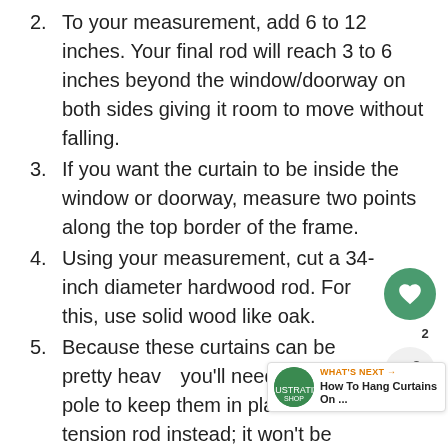2. To your measurement, add 6 to 12 inches. Your final rod will reach 3 to 6 inches beyond the window/doorway on both sides giving it room to move without falling.
3. If you want the curtain to be inside the window or doorway, measure two points along the top border of the frame.
4. Using your measurement, cut a 34-inch diameter hardwood rod. For this, use solid wood like oak.
5. Because these curtains can be pretty heavy, you'll need a sturdy pole to keep them in place. Use a tension rod instead; it won't be strong enough.
6. You can cut the wood yourself with a saw or